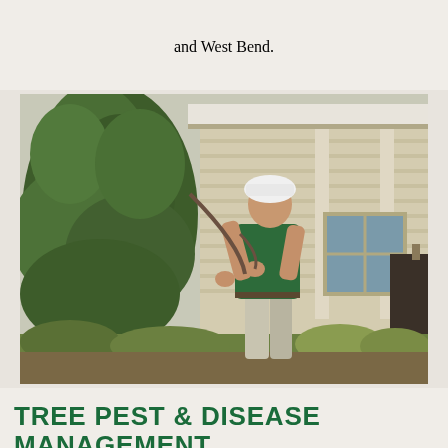and West Bend.
[Figure (photo): A man wearing a white hard hat and green polo shirt examining a coniferous tree branch in front of a house with white siding and a porch.]
TREE PEST & DISEASE MANAGEMENT